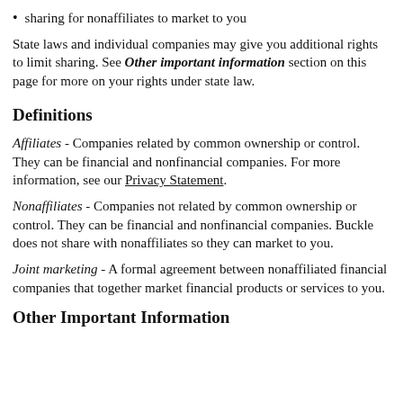sharing for nonaffiliates to market to you
State laws and individual companies may give you additional rights to limit sharing. See Other important information section on this page for more on your rights under state law.
Definitions
Affiliates - Companies related by common ownership or control. They can be financial and nonfinancial companies. For more information, see our Privacy Statement.
Nonaffiliates - Companies not related by common ownership or control. They can be financial and nonfinancial companies. Buckle does not share with nonaffiliates so they can market to you.
Joint marketing - A formal agreement between nonaffiliated financial companies that together market financial products or services to you.
Other Important Information